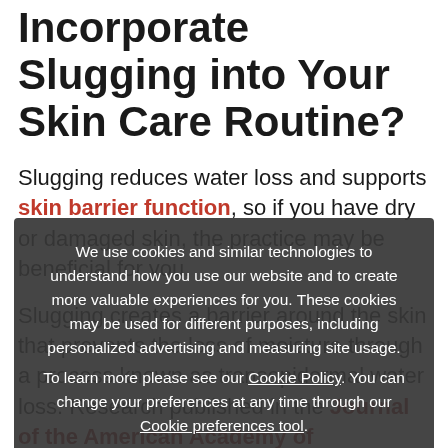Incorporate Slugging into Your Skin Care Routine?
Slugging reduces water loss and supports skin barrier function, so if you have dry or damaged skin, the practice may be beneficial for you.
Slugging creates a barrier around the skin that prevents the loss of moisture through a process known as transepidermal water loss. Research published in the Journal of the American Academy of Dermatology demonstrated that occlusive products accelerate barrier recovery and block water loss by trapping moisture under the skin's surface.
We use cookies and similar technologies to understand how you use our website and to create more valuable experiences for you. These cookies may be used for different purposes, including personalized advertising and measuring site usage. To learn more please see our Cookie Policy. You can change your preferences at any time through our Cookie preferences tool.